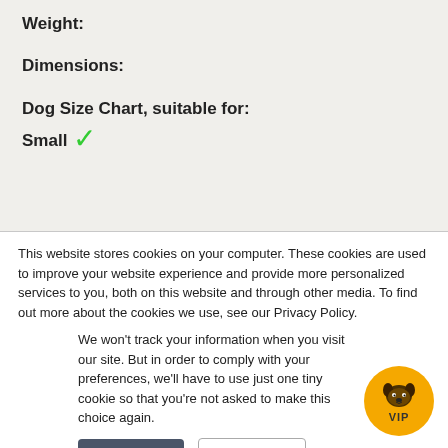Weight:
Dimensions:
Dog Size Chart, suitable for:
Small ✓
This website stores cookies on your computer. These cookies are used to improve your website experience and provide more personalized services to you, both on this website and through other media. To find out more about the cookies we use, see our Privacy Policy.
We won't track your information when you visit our site. But in order to comply with your preferences, we'll have to use just one tiny cookie so that you're not asked to make this choice again.
Accept
Decline